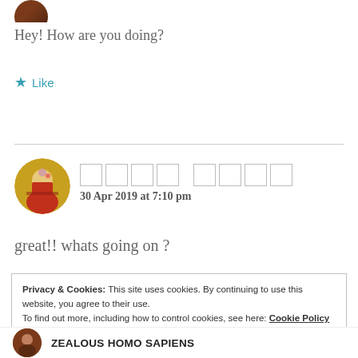[Figure (photo): Circular avatar photo of a person, partially visible at top]
Hey! How are you doing?
★ Like
[Figure (photo): Circular avatar photo of a woman in traditional Indian attire]
□□□□ □□□□
30 Apr 2019 at 7:10 pm
great!! whats going on ?
Privacy & Cookies: This site uses cookies. By continuing to use this website, you agree to their use.
To find out more, including how to control cookies, see here: Cookie Policy
Close and accept
ZEALOUS HOMO SAPIENS